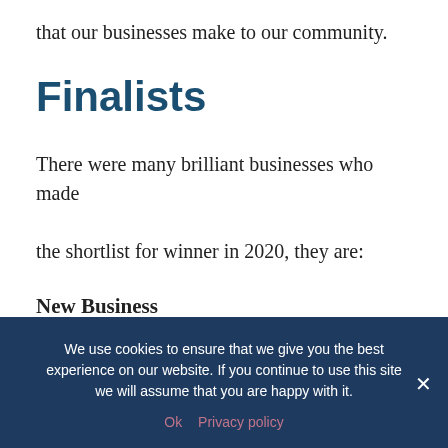that our businesses make to our community.
Finalists
There were many brilliant businesses who made the shortlist for winner in 2020, they are:
New Business
• The Good Life Projects
We use cookies to ensure that we give you the best experience on our website. If you continue to use this site we will assume that you are happy with it.
Ok  Privacy policy